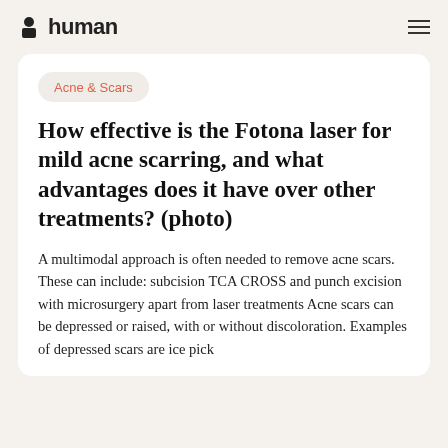human
Acne & Scars
How effective is the Fotona laser for mild acne scarring, and what advantages does it have over other treatments? (photo)
A multimodal approach is often needed to remove acne scars. These can include: subcision TCA CROSS and punch excision with microsurgery apart from laser treatments Acne scars can be depressed or raised, with or without discoloration. Examples of depressed scars are ice pick